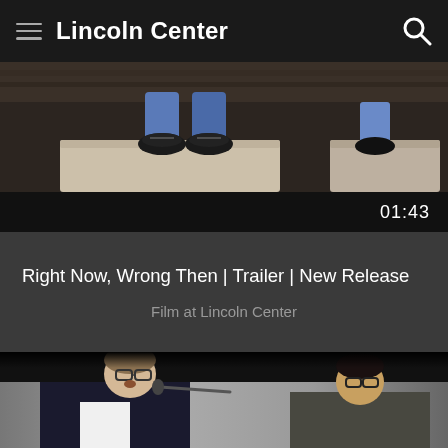Lincoln Center
[Figure (photo): Top portion of a video thumbnail showing legs and sneakers resting on a concrete bench]
01:43
Right Now, Wrong Then | Trailer | New Release
Film at Lincoln Center
[Figure (photo): Two men on a stage, one holding a microphone, appearing to be in a Q&A panel discussion]